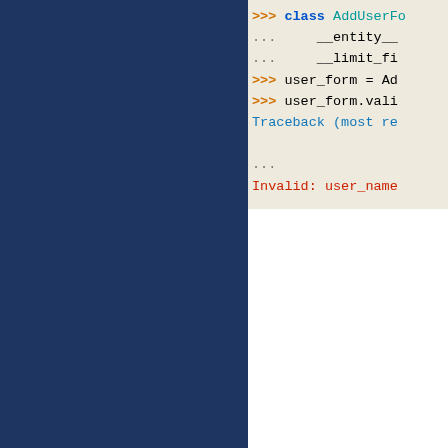[Figure (screenshot): Dark navy blue left panel taking up the left side of the page]
>>> class AddUserFo...
...     __entity__...
...     __limit_fi...
>>> user_form = Ad...
>>> user_form.vali...
Traceback (most re...
...
Invalid: user_name...
The validation fails because there is already a user with the user_name 'asdf' in the database
validate(params, state=None, use_request_local=True)
A pass-thru to the widget's